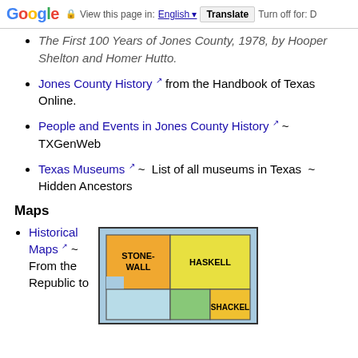Google | View this page in: English | Translate | Turn off for: D
The First 100 Years of Jones County, 1978, by Hooper Shelton and Homer Hutto.
Jones County History [external link] from the Handbook of Texas Online.
People and Events in Jones County History [external link] ~ TXGenWeb
Texas Museums [external link] ~ List of all museums in Texas ~ Hidden Ancestors
Maps
Historical Maps [external link] ~ From the Republic to
[Figure (map): Map showing counties in Texas including Stonewall, Haskell, and Shackel counties, color-coded in orange, yellow, and light blue.]